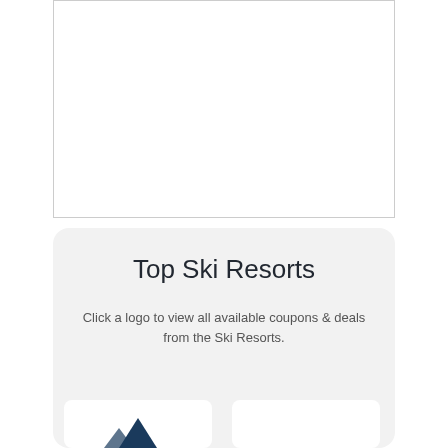[Figure (other): Empty white rectangular box with thin border, likely a placeholder for an image or advertisement]
Top Ski Resorts
Click a logo to view all available coupons & deals from the Ski Resorts.
[Figure (logo): White card with partial dark blue mountain/logo shape visible at bottom left]
[Figure (logo): White card, contents not visible]